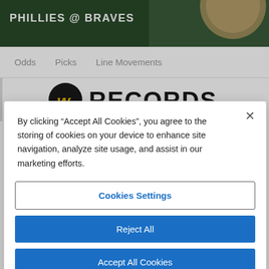PHILLIES @ BRAVES
Odds   Picks   Line Movements
[Figure (logo): W Records logo with stylized W emblem and bold RECORDS text]
By clicking “Accept All Cookies“, you agree to the storing of cookies on your device to enhance site navigation, analyze site usage, and assist in our marketing efforts.
Cookies Settings
Reject All
Accept All Cookies